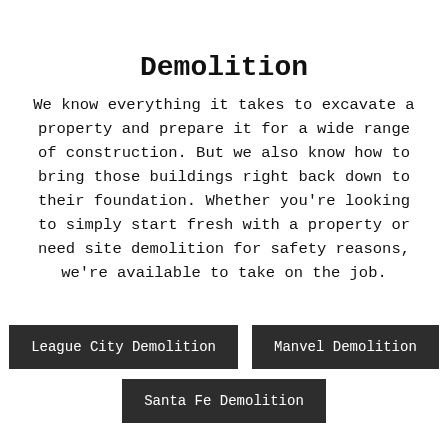Demolition
We know everything it takes to excavate a property and prepare it for a wide range of construction. But we also know how to bring those buildings right back down to their foundation. Whether you’re looking to simply start fresh with a property or need site demolition for safety reasons, we’re available to take on the job.
League City Demolition
Manvel Demolition
Santa Fe Demolition